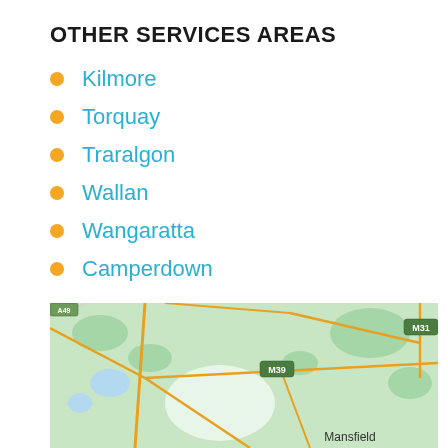OTHER SERVICES AREAS
Kilmore
Torquay
Traralgon
Wallan
Wangaratta
Camperdown
[Figure (map): Map of regional Victoria, Australia showing roads and highways M31, M39, with Mansfield visible at bottom right. Green landscape with yellow road lines and water features.]